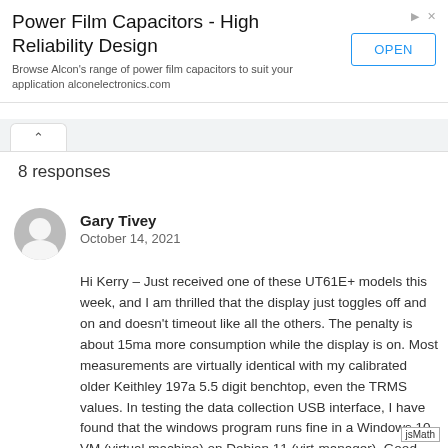[Figure (other): Advertisement banner for Power Film Capacitors by Alcon Electronics with an OPEN button]
8 responses
Gary Tivey
October 14, 2021
Hi Kerry – Just received one of these UT61E+ models this week, and I am thrilled that the display just toggles off and on and doesn't timeout like all the others. The penalty is about 15ma more consumption while the display is on. Most measurements are virtually identical with my calibrated older Keithley 197a 5.5 digit benchtop, even the TRMS values. In testing the data collection USB interface, I have found that the windows program runs fine in a Windows 10 VM (virtual machine) on Debian 11 (virt-manager). Good luck and thanks for the lengthy reviews. best regards, –Gary
Reply